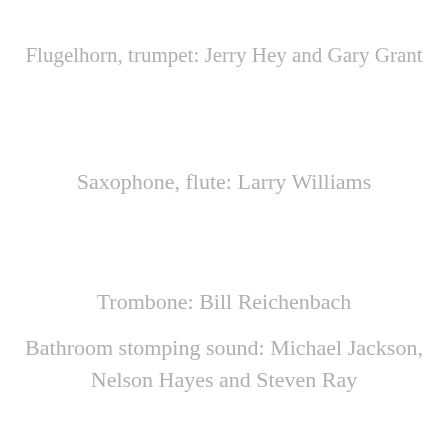Flugelhorn, trumpet: Jerry Hey and Gary Grant
Saxophone, flute: Larry Williams
Trombone: Bill Reichenbach
Bathroom stomping sound: Michael Jackson, Nelson Hayes and Steven Ray